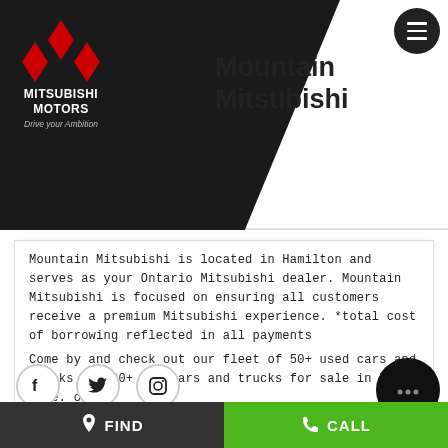$1324.46 all-in biweekly for 84 months O.A.C. +Plus applicable taxes +Plus applicable fees Mountain Mitsubishi *total cost of borrowing reflected in all payments
Mountain Mitsubishi
Mountain Mitsubishi is located in Hamilton and serves as your Ontario Mitsubishi dealer. Mountain Mitsubishi is focused on ensuring all customers receive a premium Mitsubishi experience. *total cost of borrowing reflected in all payments
Come by and check out our fleet of 50+ used cars and trucks and 20+ new cars and trucks for sale in Mount Hope. o~o
FIND   CALL